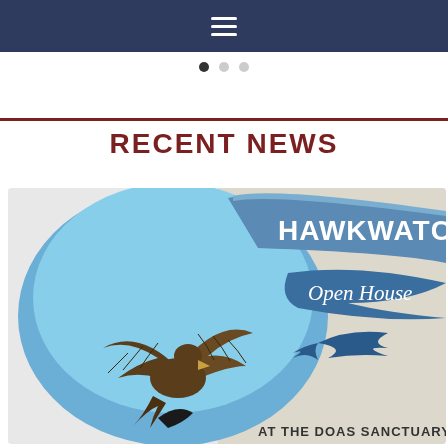Navigation bar with hamburger menu
[Figure (other): Pagination dots: one filled black dot and two gray dots indicating a slideshow position]
RECENT NEWS
[Figure (photo): Hawkwatch Open House at the DOAS Sanctuary promotional image. Left side shows a large eagle or hawk photographed mid-flight against a blue sky background within a light blue oval shape. Right side shows banner ribbon graphics with text 'HAWKWATCH' in large bold letters and 'Open House' in cursive on a blue ribbon, plus a stylized blue swift/swallow silhouette and the text 'AT THE DOAS SANCTUARY' at the bottom.]